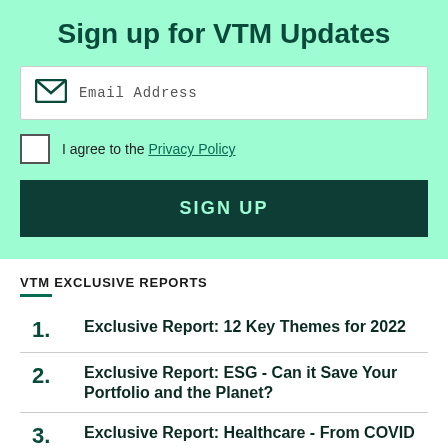Sign up for VTM Updates
Email Address
I agree to the Privacy Policy
SIGN UP
VTM EXCLUSIVE REPORTS
1. Exclusive Report: 12 Key Themes for 2022
2. Exclusive Report: ESG - Can it Save Your Portfolio and the Planet?
3. Exclusive Report: Healthcare - From COVID to